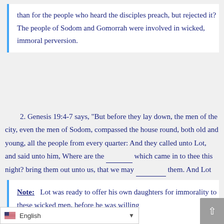than for the people who heard the disciples preach, but rejected it?  The people of Sodom and Gomorrah were involved in wicked, immoral perversion.
2. Genesis 19:4-7 says, “But before they lay down, the men of the city, even the men of Sodom, compassed the house round, both old and young, all the people from every quarter: And they called unto Lot, and said unto him, Where are the ______ which came in to thee this night? bring them out unto us, that we may ________ them. And Lot went out at the door unto them, and shut the door after him, And said, I pray you, brethren, do not so ________________.”
Note:  Lot was ready to offer his own daughters for immorality to these wicked men, before he was willing were visiting him (whom he did